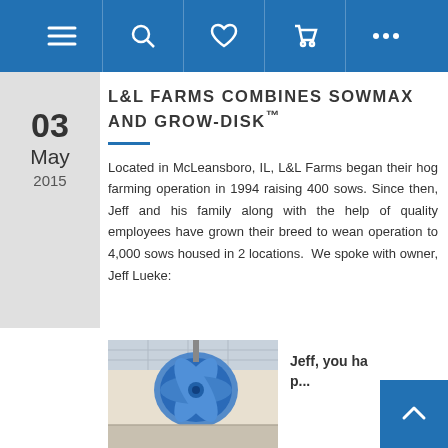Navigation bar with menu, search, heart, cart, and more icons
03 May 2015
L&L FARMS COMBINES SOWMAX AND GROW-DISK™
Located in McLeansboro, IL, L&L Farms began their hog farming operation in 1994 raising 400 sows. Since then, Jeff and his family along with the help of quality employees have grown their breed to wean operation to 4,000 sows housed in 2 locations. We spoke with owner, Jeff Lueke:
[Figure (photo): Interior of a hog farm building showing a large blue fan or ventilation disk mounted on the ceiling]
Jeff, you ha p...